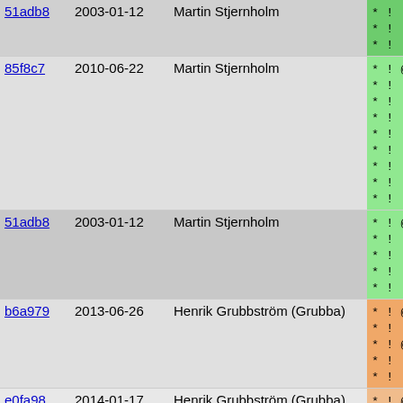| hash | date | author | code |
| --- | --- | --- | --- |
| 51adb8 | 2003-01-12 | Martin Stjernholm | * ! @member
* !    Upper
* !    takes |
| 85f8c7 | 2010-06-22 | Martin Stjernholm | * ! @member
* !    This p
* !    facto
* !    spent
* !    this 
* !    measu
* !    due to
* !    increa
* !    off. |
| 51adb8 | 2003-01-12 | Martin Stjernholm | * ! @member
* !    When p
* !    with t
* !    1.0 th
* !    The re |
| b6a979 | 2013-06-26 | Henrik Grubbström (Grubba) | * ! @member
* !    This t
* ! @member
* !    This t
* !    is don |
| e0fa98 | 2014-01-17 | Henrik Grubbström (Grubba) | * ! @member |
| b6a979 | 2013-06-26 | Henrik Grubbström (Grubba) | * !    This t
* !    a cycl |
| e0fa98 | 2014-01-17 | Henrik Grubbström (Grubba) | * !    The an
* !    @dl |